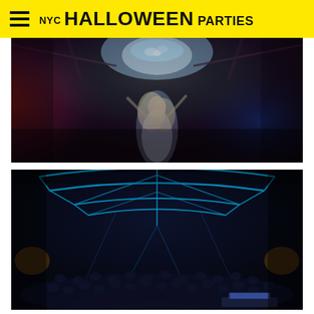NYC HALLOWEEN PARTIES
[Figure (photo): Fisheye lens photo of a nightclub interior with red and blue lighting. A woman with long blonde hair stands in the center below a crystal chandelier, arms raised. The scene is dark with atmospheric lighting suggesting a party environment.]
[Figure (photo): Wide-angle fisheye photo of a packed nightclub with blue neon geometric ceiling lights forming diamond/angular patterns. A large crowd fills the dance floor below, lit in blue tones. A DJ booth with a laptop is visible in the foreground bottom right.]